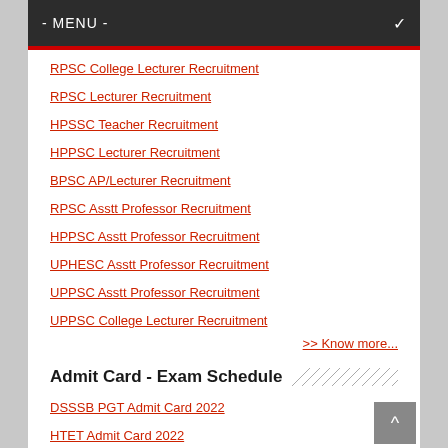- MENU -
RPSC Lecturer Recruitment
HPSSC Teacher Recruitment
HPPSC Lecturer Recruitment
BPSC AP/Lecturer Recruitment
RPSC Asstt Professor Recruitment
HPPSC Asstt Professor Recruitment
UPHESC Asstt Professor Recruitment
UPPSC Asstt Professor Recruitment
UPPSC College Lecturer Recruitment
>> Know more...
Admit Card - Exam Schedule
DSSSB PGT Admit Card 2022
HTET Admit Card 2022
CTET Admit Card 2022
HSSC TGT English 2022
HPTET Admit Card 2022